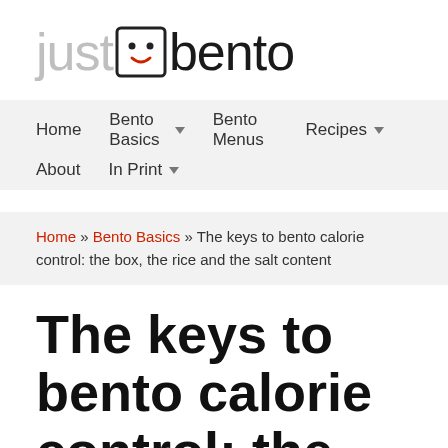[Figure (logo): Just Bento logo with stylized face icon between 'just' and 'bento' text]
Home  Bento Basics ▼  Bento Menus  Recipes ▼  About  In Print ▼
Home » Bento Basics » The keys to bento calorie control: the box, the rice and the salt content
The keys to bento calorie control: the box,